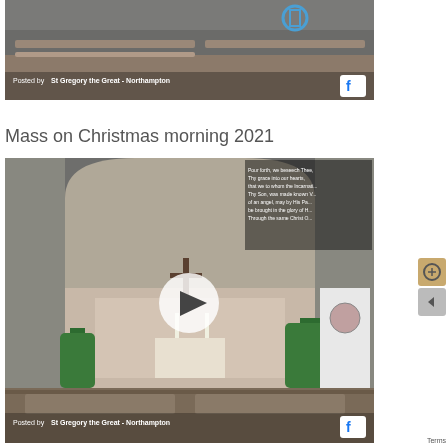[Figure (screenshot): Facebook video thumbnail showing interior of St Gregory the Great church, Northampton, with an overlay text 'Posted by St Gregory the Great - Northampton' and Facebook icon at bottom left of a cropped image at the top of the page.]
Mass on Christmas morning 2021
[Figure (screenshot): Facebook video thumbnail showing interior of St Gregory the Great church altar area decorated for Christmas 2021, with a circular play button in the center, prayer text overlay at top right, and 'Posted by St Gregory the Great - Northampton' with Facebook icon at the bottom.]